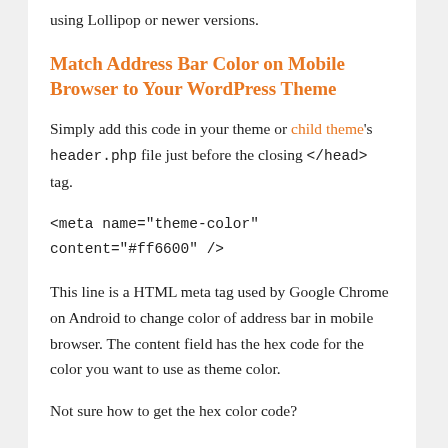using Lollipop or newer versions.
Match Address Bar Color on Mobile Browser to Your WordPress Theme
Simply add this code in your theme or child theme's header.php file just before the closing </head> tag.
This line is a HTML meta tag used by Google Chrome on Android to change color of address bar in mobile browser. The content field has the hex code for the color you want to use as theme color.
Not sure how to get the hex color code?